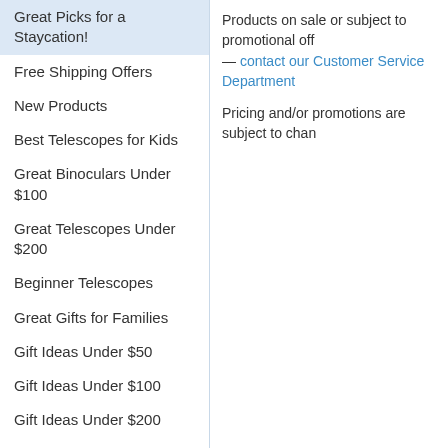Great Picks for a Staycation!
Free Shipping Offers
New Products
Best Telescopes for Kids
Great Binoculars Under $100
Great Telescopes Under $200
Beginner Telescopes
Great Gifts for Families
Gift Ideas Under $50
Gift Ideas Under $100
Gift Ideas Under $200
Orion Gear
Save! Kits & Bundles
Sale Gifts
Microscopes
Comet Central
Sun Spot
Products on sale or subject to promotional off— contact our Customer Service Department
Pricing and/or promotions are subject to chan